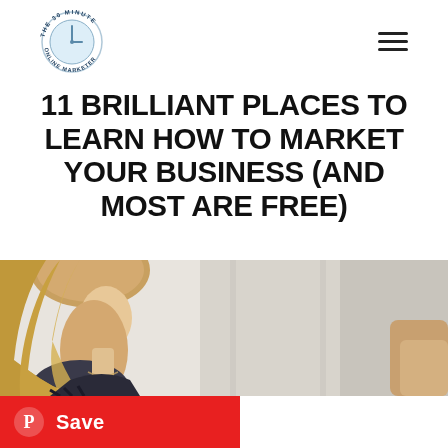The 30 Minute Online Marketer logo and hamburger menu
11 BRILLIANT PLACES TO LEARN HOW TO MARKET YOUR BUSINESS (AND MOST ARE FREE)
[Figure (photo): Woman with blonde hair looking down, seated, in a bright office setting]
[Figure (other): Pinterest Save button — red bar with Pinterest logo and 'Save' text]